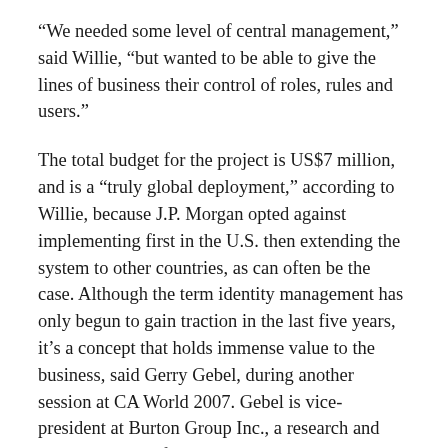“We needed some level of central management,” said Willie, “but wanted to be able to give the lines of business their control of roles, rules and users.”
The total budget for the project is US$7 million, and is a “truly global deployment,” according to Willie, because J.P. Morgan opted against implementing first in the U.S. then extending the system to other countries, as can often be the case. Although the term identity management has only begun to gain traction in the last five years, it’s a concept that holds immense value to the business, said Gerry Gebel, during another session at CA World 2007. Gebel is vice-president at Burton Group Inc., a research and advisor services firm based in Midvale, Utah. Automating administrative activities, such as J.P. Morgan’s very manual user access system, makes for more efficient IT, especially given businesses are typically driven to